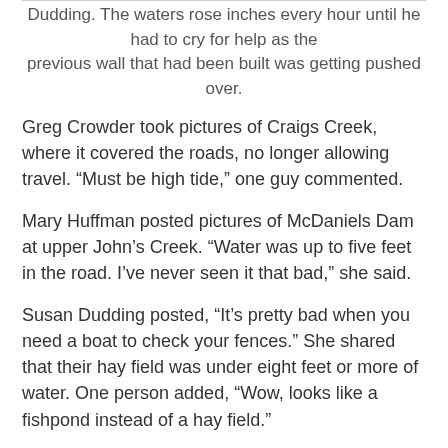Dudding. The waters rose inches every hour until he had to cry for help as the previous wall that had been built was getting pushed over.
Greg Crowder took pictures of Craigs Creek, where it covered the roads, no longer allowing travel. “Must be high tide,” one guy commented.
Mary Huffman posted pictures of McDaniels Dam at upper John’s Creek. “Water was up to five feet in the road. I’ve never seen it that bad,” she said.
Susan Dudding posted, “It’s pretty bad when you need a boat to check your fences.” She shared that their hay field was under eight feet or more of water. One person added, “Wow, looks like a fishpond instead of a hay field.”
As people are cleaning up, they are still looking at the uneasy upcoming weather forecast of the next several days, as the ground is soaked, and water runoff will be